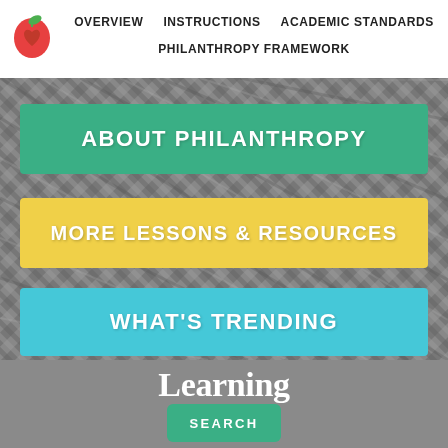OVERVIEW   INSTRUCTIONS   ACADEMIC STANDARDS   PHILANTHROPY FRAMEWORK
ABOUT PHILANTHROPY
MORE LESSONS & RESOURCES
WHAT'S TRENDING
[Figure (logo): Learning To Give logo with stylized text on gray background]
SEARCH